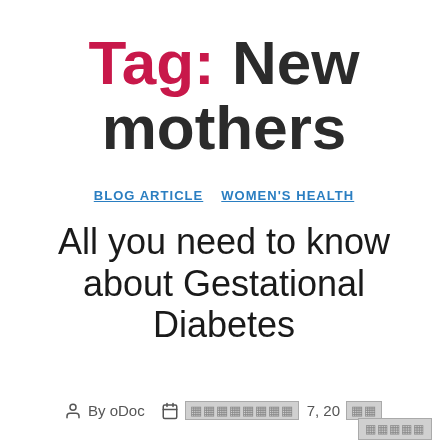Tag: New mothers
BLOG ARTICLE   WOMEN'S HEALTH
All you need to know about Gestational Diabetes
By oDoc  [date redacted] 7, 20[redacted]